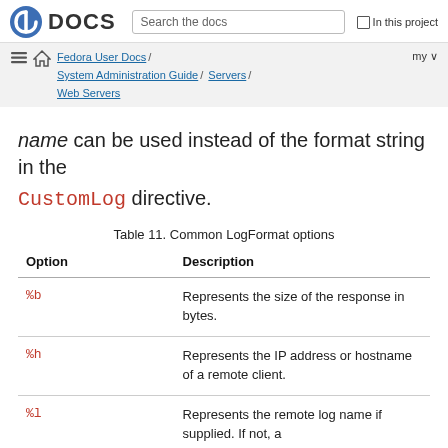Fedora DOCS | Search the docs | In this project
Fedora User Docs / System Administration Guide / Servers / Web Servers | my
name can be used instead of the format string in the CustomLog directive.
Table 11. Common LogFormat options
| Option | Description |
| --- | --- |
| %b | Represents the size of the response in bytes. |
| %h | Represents the IP address or hostname of a remote client. |
| %l | Represents the remote log name if supplied. If not, a |